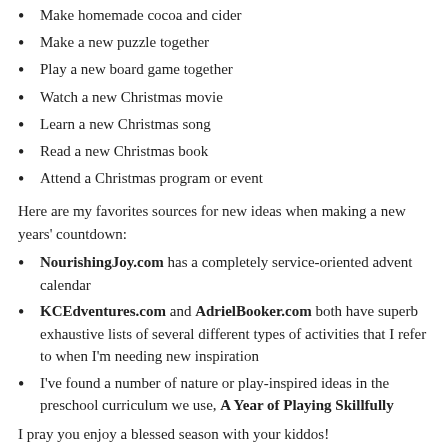Make homemade cocoa and cider
Make a new puzzle together
Play a new board game together
Watch a new Christmas movie
Learn a new Christmas song
Read a new Christmas book
Attend a Christmas program or event
Here are my favorites sources for new ideas when making a new years' countdown:
NourishingJoy.com has a completely service-oriented advent calendar
KCEdventures.com and AdrielBooker.com both have superb exhaustive lists of several different types of activities that I refer to when I'm needing new inspiration
I've found a number of nature or play-inspired ideas in the preschool curriculum we use, A Year of Playing Skillfully
I pray you enjoy a blessed season with your kiddos!
JAMIN RESPONDS: So many great ideas! I can't wait to watch this happen, knowing it's happening!